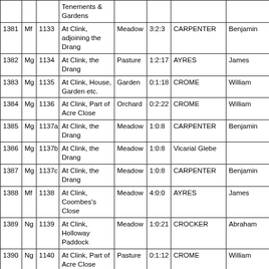|  |  |  | Tenements & Gardens |  |  |  |  |
| --- | --- | --- | --- | --- | --- | --- | --- |
| 1381 | Mf | 1133 | At Clink, adjoining the Drang | Meadow | 3:2:3 | CARPENTER | Benjamin |
| 1382 | Mg | 1134 | At Clink, the Drang | Pasture | 1:2:17 | AYRES | James |
| 1383 | Mg | 1135 | At Clink, House, Garden etc. | Garden | 0:1:18 | CROME | William |
| 1384 | Mg | 1136 | At Clink, Part of Acre Close | Orchard | 0:2:22 | CROME | William |
| 1385 | Mg | 1137a | At Clink, the Drang | Meadow | 1:0:8 | CARPENTER | Benjamin |
| 1386 | Mg | 1137b | At Clink, the Drang | Meadow | 1:0:8 | Vicarial Glebe |  |
| 1387 | Mg | 1137c | At Clink, the Drang | Meadow | 1:0:8 | CARPENTER | Benjamin |
| 1388 | Mf | 1138 | At Clink, Coombes's Close | Meadow | 4:0:0 | AYRES | James |
| 1389 | Ng | 1139 | At Clink, Holloway Paddock | Meadow | 1:0:21 | CROCKER | Abraham |
| 1390 | Ng | 1140 | At Clink, Part of Acre Close | Pasture | 0:1:12 | CROME | William |
| 1391 | Nf | 1141 | At Clink, Dri... | Meadow | 2:2:18 | AYRES | James |